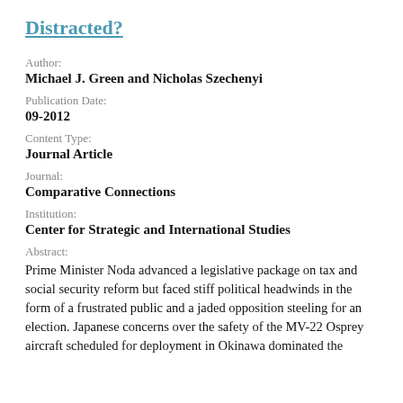Distracted?
Author:
Michael J. Green and Nicholas Szechenyi
Publication Date:
09-2012
Content Type:
Journal Article
Journal:
Comparative Connections
Institution:
Center for Strategic and International Studies
Abstract:
Prime Minister Noda advanced a legislative package on tax and social security reform but faced stiff political headwinds in the form of a frustrated public and a jaded opposition steeling for an election. Japanese concerns over the safety of the MV-22 Osprey aircraft scheduled for deployment in Okinawa dominated the